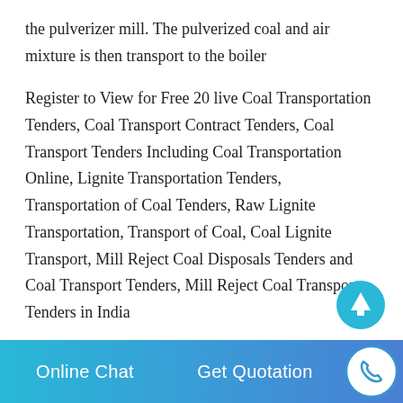the pulverizer mill. The pulverized coal and air mixture is then transport to the boiler
Register to View for Free 20 live Coal Transportation Tenders, Coal Transport Contract Tenders, Coal Transport Tenders Including Coal Transportation Online, Lignite Transportation Tenders, Transportation of Coal Tenders, Raw Lignite Transportation, Transport of Coal, Coal Lignite Transport, Mill Reject Coal Disposals Tenders and Coal Transport Tenders, Mill Reject Coal Transport Tenders in India
A novel controller for coal circulation and pulverized coal flow in a coal mill is proposed. The design is based on optimal control
Online Chat    Get Quotation